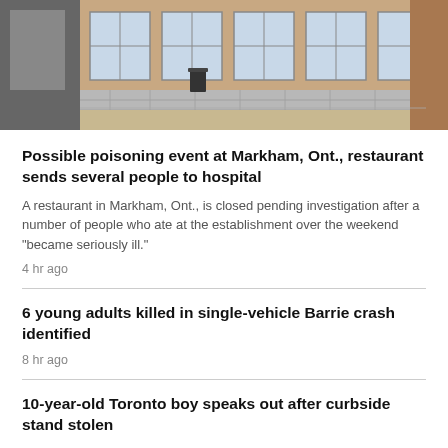[Figure (photo): Exterior photo of a closed restaurant building with large windows, brick facade, and a parking area in front.]
Possible poisoning event at Markham, Ont., restaurant sends several people to hospital
A restaurant in Markham, Ont., is closed pending investigation after a number of people who ate at the establishment over the weekend "became seriously ill."
4 hr ago
6 young adults killed in single-vehicle Barrie crash identified
8 hr ago
10-year-old Toronto boy speaks out after curbside stand stolen